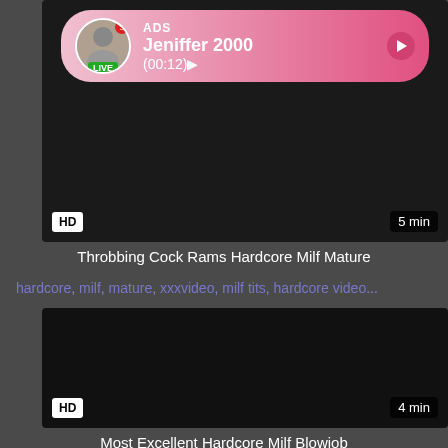[Figure (screenshot): Video thumbnail with ad overlay showing a live user named Jeniffer 2000, with HD badge and 5 min duration label]
Throbbing Cock Rams Hardcore Milf Mature
hardcore, milf, mature, xxxvideo, milf tits, hardcore video...
[Figure (screenshot): Black video thumbnail with HD badge and 4 min duration label]
Most Excellent Hardcore Milf Blowjob